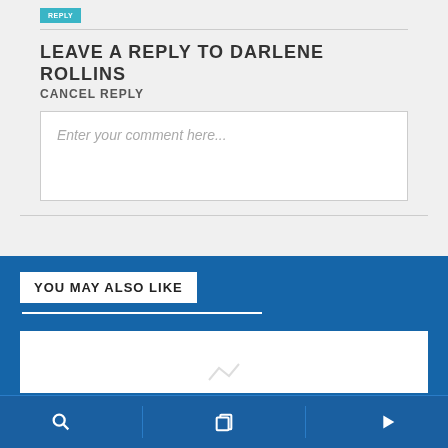[Figure (screenshot): Teal/cyan reply button at top left]
LEAVE A REPLY TO DARLENE ROLLINS
CANCEL REPLY
[Figure (screenshot): Comment text input box with placeholder text: Enter your comment here...]
YOU MAY ALSO LIKE
[Figure (screenshot): White card area at bottom of blue section, partially visible]
[Figure (screenshot): Bottom navigation bar with search, pages, and play icons]